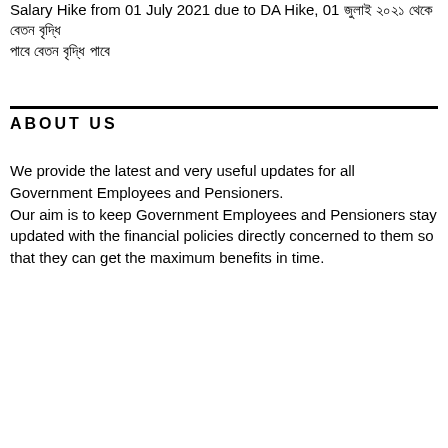Salary Hike from 01 July 2021 due to DA Hike, 01 জুলাই ২০২১ থেকে বেতন বৃদ্ধি পাবে
ABOUT US
We provide the latest and very useful updates for all Government Employees and Pensioners.
Our aim is to keep Government Employees and Pensioners stay updated with the financial policies directly concerned to them so that they can get the maximum benefits in time.